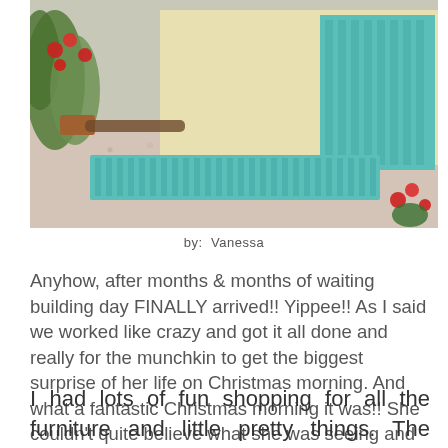[Figure (photo): Outdoor photo showing a teal/turquoise painted wooden shed with a matching step/ramp in front, gravel ground, potted flowers and red geraniums on the side, yellow wall of shed visible.]
by:  Vanessa
Anyhow, after months & months of waiting building day FINALLY arrived!! Yippee!! As I said we worked like crazy and got it all done and really for the munchkin to get the biggest surprise of her life on Christmas morning.  And what a fantastic Christmas morning it was!!  She couldn't quite believe what she was seeing and she was almost to scared to go inside, it was so super cute.
I had lots of fun shopping for all the furniture and little pretty things.  The weekend   markets   and   Trademe